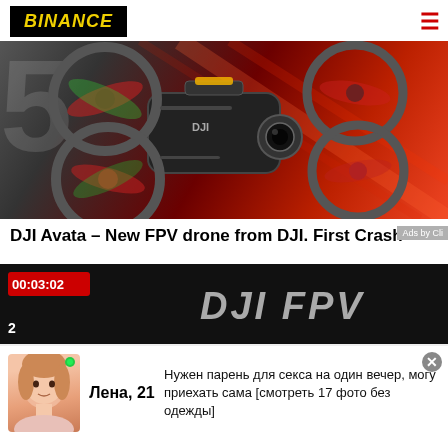BINANCE
[Figure (photo): DJI Avata FPV drone on red/dark gradient background]
DJI Avata – New FPV drone from DJI. First Crash
[Figure (screenshot): Video thumbnail showing 00:03:02 timer and DJI FPV logo text on dark background]
[Figure (infographic): Ad popup overlay: photo of young woman (Lena, 21) with Russian language dating advertisement text]